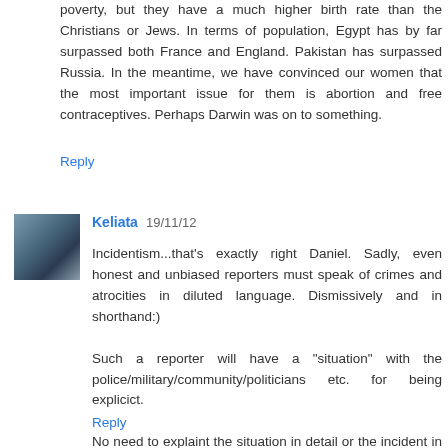poverty, but they have a much higher birth rate than the Christians or Jews. In terms of population, Egypt has by far surpassed both France and England. Pakistan has surpassed Russia. In the meantime, we have convinced our women that the most important issue for them is abortion and free contraceptives. Perhaps Darwin was on to something.
Reply
Keliata  19/11/12
Incidentism...that's exactly right Daniel. Sadly, even honest and unbiased reporters must speak of crimes and atrocities in diluted language. Dismissively and in shorthand:)

Such a reporter will have a "situation" with the police/military/community/politicians etc. for being explicict.

No need to explaint the situation in detail or the incident in detail.
Reply